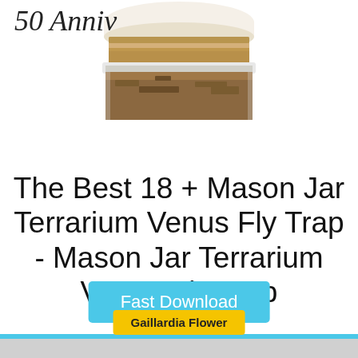[Figure (photo): Cork-stoppered glass jar/terrarium bottle photographed from above, showing cork lid and glass body with soil/material inside]
50 Anniv
The Best 18 + Mason Jar Terrarium Venus Fly Trap - Mason Jar Terrarium Venus Fly Trap
Gaillardia Flower
Fast Download